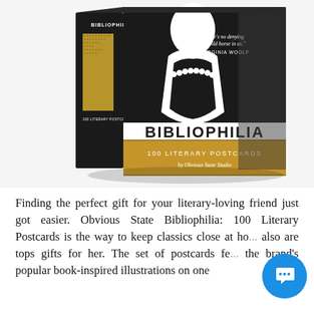[Figure (photo): Product photo of 'Bibliophilia: 100 Literary Postcards by Obvious State Studio' box set. The box has a black front cover with a white silhouette of a woman wearing a pearl necklace, and a Virginia Woolf quote: 'There's no denying the wild horse in us.' The title BIBLIOPHILIA is printed in large black letters, below which is a gold/tan band reading '100 LITERARY POSTCARDS by Obvious State Studio'. The spine of the box is visible on the left with a textured gold pattern.]
Finding the perfect gift for your literary-loving friend just got easier. Obvious State Bibliophilia: 100 Literary Postcards is the way to keep classics close at ho... also are tops gifts for her. The set of postcards fe... the brand's popular book-inspired illustrations on one